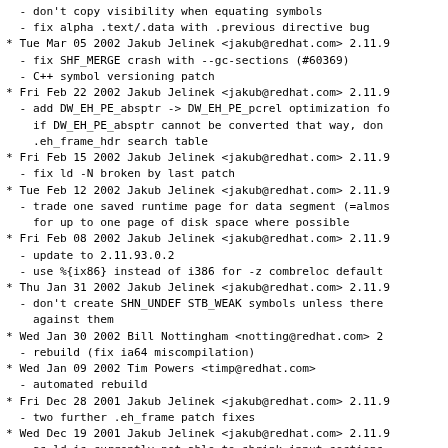- don't copy visibility when equating symbols
  - fix alpha .text/.data with .previous directive bug
* Tue Mar 05 2002 Jakub Jelinek <jakub@redhat.com> 2.11.9
  - fix SHF_MERGE crash with --gc-sections (#60369)
  - C++ symbol versioning patch
* Fri Feb 22 2002 Jakub Jelinek <jakub@redhat.com> 2.11.9
  - add DW_EH_PE_absptr -> DW_EH_PE_pcrel optimization fo
    if DW_EH_PE_absptr cannot be converted that way, don
    .eh_frame_hdr search table
* Fri Feb 15 2002 Jakub Jelinek <jakub@redhat.com> 2.11.9
  - fix ld -N broken by last patch
* Tue Feb 12 2002 Jakub Jelinek <jakub@redhat.com> 2.11.9
  - trade one saved runtime page for data segment (=almos
    for up to one page of disk space where possible
* Fri Feb 08 2002 Jakub Jelinek <jakub@redhat.com> 2.11.9
  - update to 2.11.93.0.2
  - use %{ix86} instead of i386 for -z combreloc default
* Thu Jan 31 2002 Jakub Jelinek <jakub@redhat.com> 2.11.9
  - don't create SHN_UNDEF STB_WEAK symbols unless there
    against them
* Wed Jan 30 2002 Bill Nottingham <notting@redhat.com> 2
  - rebuild (fix ia64 miscompilation)
* Wed Jan 09 2002 Tim Powers <timp@redhat.com>
  - automated rebuild
* Fri Dec 28 2001 Jakub Jelinek <jakub@redhat.com> 2.11.9
  - two further .eh_frame patch fixes
* Wed Dec 19 2001 Jakub Jelinek <jakub@redhat.com> 2.11.9
  - as ld is currently not able to shrink input sections
    during discard_info, build a fake minimal CIE in that
  - update elf-strtab patch to what was commited